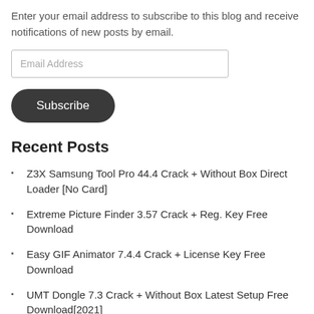Enter your email address to subscribe to this blog and receive notifications of new posts by email.
Email Address
Subscribe
Recent Posts
Z3X Samsung Tool Pro 44.4 Crack + Without Box Direct Loader [No Card]
Extreme Picture Finder 3.57 Crack + Reg. Key Free Download
Easy GIF Animator 7.4.4 Crack + License Key Free Download
UMT Dongle 7.3 Crack + Without Box Latest Setup Free Download[2021]